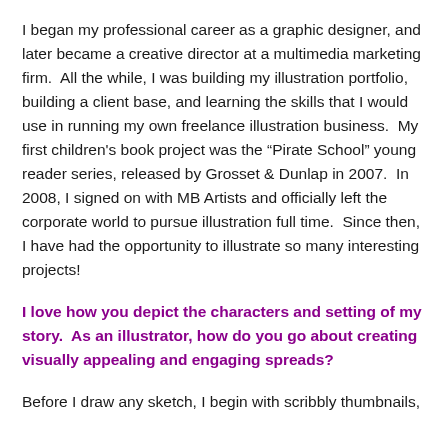I began my professional career as a graphic designer, and later became a creative director at a multimedia marketing firm.  All the while, I was building my illustration portfolio, building a client base, and learning the skills that I would use in running my own freelance illustration business.  My first children’s book project was the “Pirate School” young reader series, released by Grosset & Dunlap in 2007.  In 2008, I signed on with MB Artists and officially left the corporate world to pursue illustration full time.  Since then, I have had the opportunity to illustrate so many interesting projects!
I love how you depict the characters and setting of my story.  As an illustrator, how do you go about creating visually appealing and engaging spreads?
Before I draw any sketch, I begin with scribbly thumbnails,